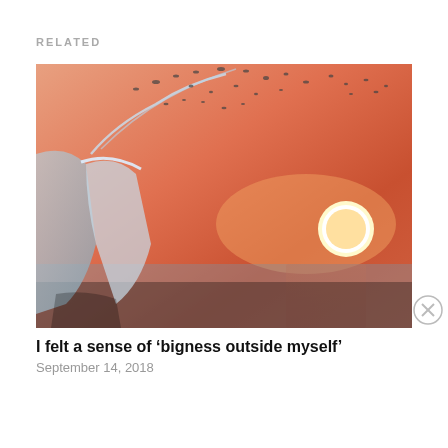RELATED
[Figure (photo): Water pouring from a glass bottle against a warm sunset sky with birds or water droplets scattered in the air, orange and pink tones]
I felt a sense of ‘bigness outside myself’
September 14, 2018
Advertisements
[Figure (illustration): DuckDuckGo advertisement banner: orange background with text 'Search, browse, and email with more privacy. All in One Free App' and a phone showing the DuckDuckGo app icon and logo]